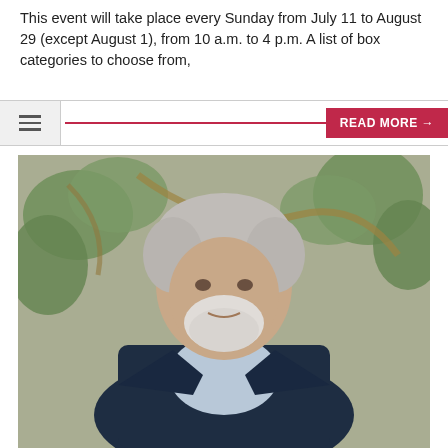This event will take place every Sunday from July 11 to August 29 (except August 1), from 10 a.m. to 4 p.m. A list of box categories to choose from,
[Figure (other): Navigation bar with hamburger menu icon on the left, a crimson horizontal line, and a 'READ MORE →' button on the right]
[Figure (photo): Portrait photo of an elderly man with grey hair and a white/grey beard, wearing a dark navy blazer and light blue shirt, smiling, against a stone wall covered in green ivy and vines]